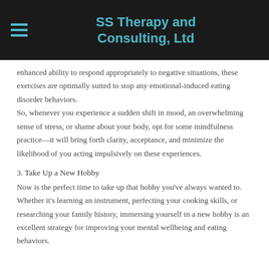SS Therapy and Consulting, Ltd
enhanced ability to respond appropriately to negative situations, these exercises are optimally suited to stop any emotional-induced eating disorder behaviors. So, whenever you experience a sudden shift in mood, an overwhelming sense of stress, or shame about your body, opt for some mindfulness practice—it will bring forth clarity, acceptance, and minimize the likelihood of you acting impulsively on these experiences.
3. Take Up a New Hobby
Now is the perfect time to take up that hobby you've always wanted to. Whether it's learning an instrument, perfecting your cooking skills, or researching your family history, immersing yourself in a new hobby is an excellent strategy for improving your mental wellbeing and eating behaviors.